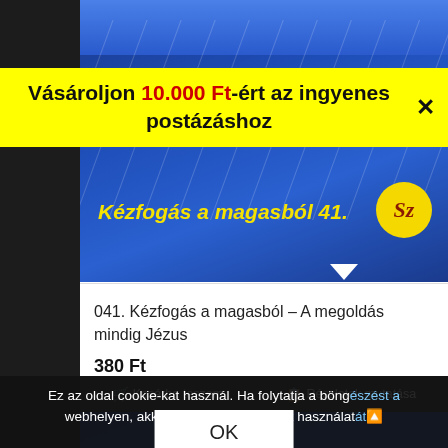[Figure (screenshot): Book cover image with dark blue background, showing 'Kézfogás a magasból 41.' in yellow italic text and an 'Sz' logo in a yellow circle]
Vásároljon 10.000 Ft-ért az ingyenes postázáshoz
041. Kézfogás a magasból – A megoldás mindig Jézus
380 Ft
Kosárba teszem
Részletek mutatása
Ez az oldal cookie-kat használ. Ha folytatja a böngészést a webhelyen, akkor elfogadja a cookie-k használatát
OK